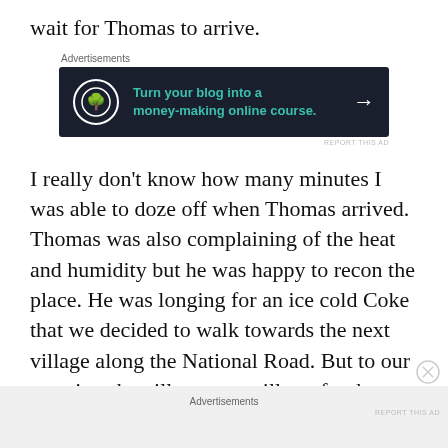wait for Thomas to arrive.
[Figure (other): Advertisement banner: dark navy background with bonsai tree icon, teal text reading 'Turn your blog into a money-making online course.' with white arrow]
I really don't know how many minutes I was able to doze off when Thomas arrived. Thomas was also complaining of the heat and humidity but he was happy to recon the place. He was longing for an ice cold Coke that we decided to walk towards the next village along the National Road. But to our surprise, the village was still too far that we decided to stop our hike in a Bus
[Figure (other): Advertisements placeholder bar at bottom of page]